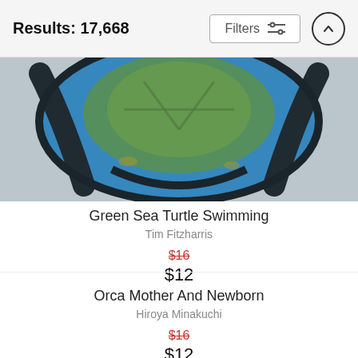Results: 17,668
Filters
[Figure (photo): Face mask with green sea turtle swimming underwater photo printed on it, shown partially cropped with black straps visible on sides]
Green Sea Turtle Swimming
Tim Fitzharris
$16 (strikethrough) $12
Orca Mother And Newborn
Hiroya Minakuchi
$16 (strikethrough) $12